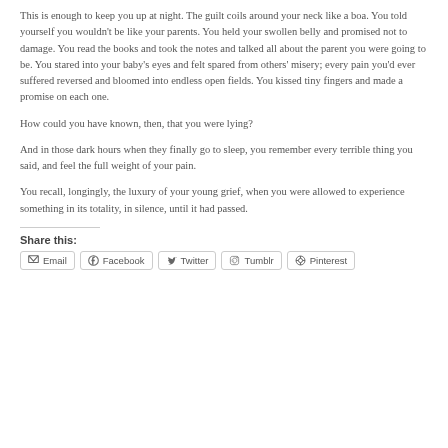This is enough to keep you up at night. The guilt coils around your neck like a boa. You told yourself you wouldn't be like your parents. You held your swollen belly and promised not to damage. You read the books and took the notes and talked all about the parent you were going to be. You stared into your baby's eyes and felt spared from others' misery; every pain you'd ever suffered reversed and bloomed into endless open fields. You kissed tiny fingers and made a promise on each one.
How could you have known, then, that you were lying?
And in those dark hours when they finally go to sleep, you remember every terrible thing you said, and feel the full weight of your pain.
You recall, longingly, the luxury of your young grief, when you were allowed to experience something in its totality, in silence, until it had passed.
Share this:
Email | Facebook | Twitter | Tumblr | Pinterest